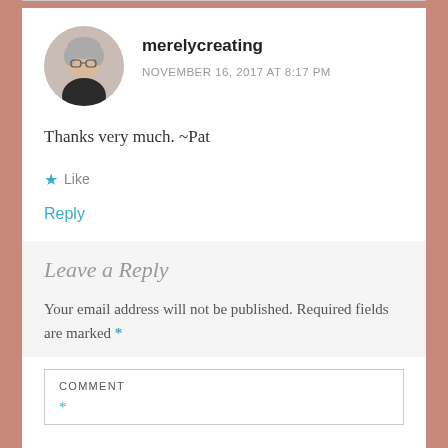[Figure (photo): Circular avatar photo of an elderly woman with gray hair, wearing a dark top, with a light background.]
merelycreating
NOVEMBER 16, 2017 AT 8:17 PM
Thanks very much. ~Pat
Like
Reply
Leave a Reply
Your email address will not be published. Required fields are marked *
COMMENT *